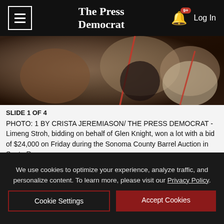The Press Democrat
[Figure (photo): Photo of people at a barrel auction, showing attendees with red lanyards]
SLIDE 1 OF 4
PHOTO: 1 BY CRISTA JEREMIASON/ THE PRESS DEMOCRAT - Limeng Stroh, bidding on behalf of Glen Knight, won a lot with a bid of $24,000 on Friday during the Sonoma County Barrel Auction in Santa Rosa.
[Figure (infographic): La-Z-Boy Labor Day Sale advertisement: UP TO 20% OFF STOREWIDE PLUS 0% INTEREST UNTIL JANUARY 2027]
BILL SW...
THE PR...
We use cookies to optimize your experience, analyze traffic, and personalize content. To learn more, please visit our Privacy Policy.
Cookie Settings
Accept Cookies